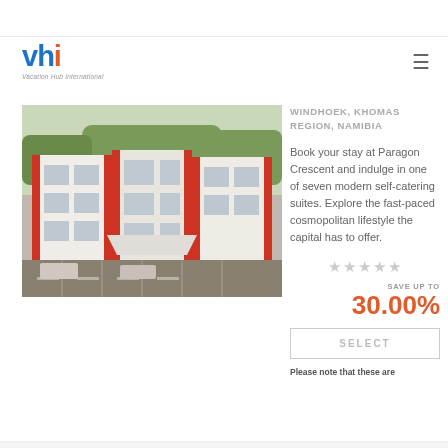[Figure (logo): VHI - Vacation Hub International logo with blue and orange lettering]
[Figure (photo): Exterior photo of Paragon Crescent hotel building with modern architecture, red accents, glass facade, and parking area]
WINDHOEK, KHOMAS REGION, NAMIBIA
Book your stay at Paragon Crescent and indulge in one of seven modern self-catering suites. Explore the fast-paced cosmopolitan lifestyle the capital has to offer.
[Figure (other): 5 grey/empty star rating icons]
SAVE UP TO
30.00%
SELECT
Please note that these are